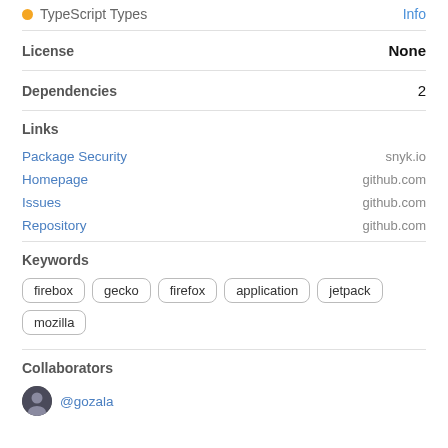TypeScript Types — Info
License
Dependencies
Links
Package Security — snyk.io
Homepage — github.com
Issues — github.com
Repository — github.com
Keywords
firebox gecko firefox application jetpack mozilla
Collaborators
@gozala